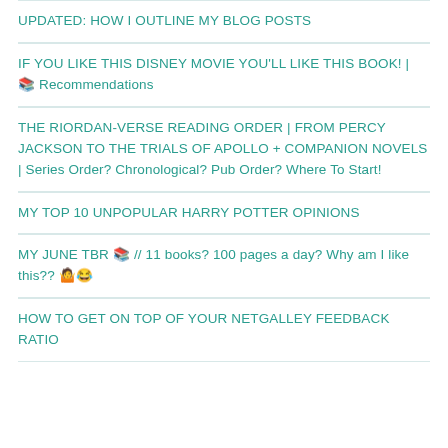UPDATED: HOW I OUTLINE MY BLOG POSTS
IF YOU LIKE THIS DISNEY MOVIE YOU'LL LIKE THIS BOOK! | 📚 Recommendations
THE RIORDAN-VERSE READING ORDER | FROM PERCY JACKSON TO THE TRIALS OF APOLLO + COMPANION NOVELS | Series Order? Chronological? Pub Order? Where To Start!
MY TOP 10 UNPOPULAR HARRY POTTER OPINIONS
MY JUNE TBR 📚 // 11 books? 100 pages a day? Why am I like this?? 🤷😂
HOW TO GET ON TOP OF YOUR NETGALLEY FEEDBACK RATIO